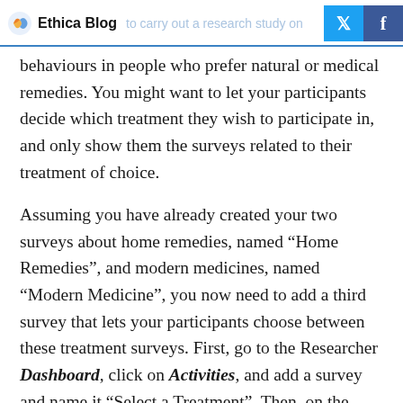Ethica Blog
behaviours in people who prefer natural or medical remedies. You might want to let your participants decide which treatment they wish to participate in, and only show them the surveys related to their treatment of choice.
Assuming you have already created your two surveys about home remedies, named “Home Remedies”, and modern medicines, named “Modern Medicine”, you now need to add a third survey that lets your participants choose between these treatment surveys. First, go to the Researcher Dashboard, click on Activities, and add a survey and name it “Select a Treatment”. Then, on the Survey Editor page, create a